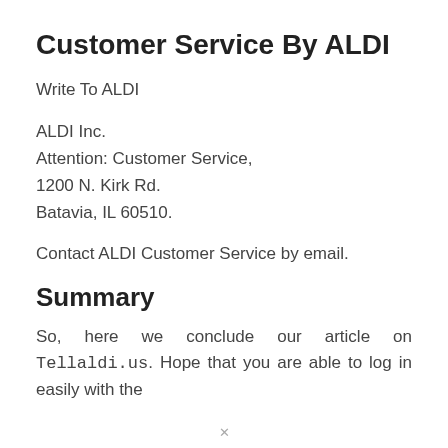Customer Service By ALDI
Write To ALDI
ALDI Inc.
Attention: Customer Service,
1200 N. Kirk Rd.
Batavia, IL 60510.
Contact ALDI Customer Service by email.
Summary
So, here we conclude our article on Tellaldi.us. Hope that you are able to log in easily with the